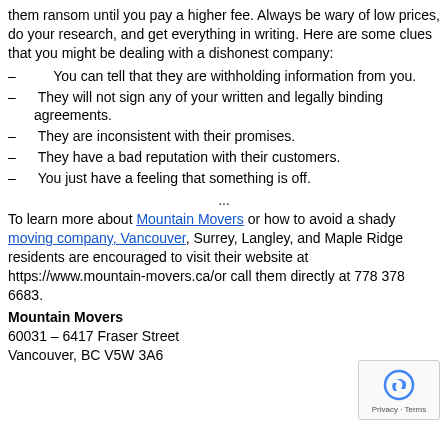them ransom until you pay a higher fee. Always be wary of low prices, do your research, and get everything in writing. Here are some clues that you might be dealing with a dishonest company:
– You can tell that they are withholding information from you.
– They will not sign any of your written and legally binding agreements.
– They are inconsistent with their promises.
– They have a bad reputation with their customers.
– You just have a feeling that something is off.
...
To learn more about Mountain Movers or how to avoid a shady moving company, Vancouver, Surrey, Langley, and Maple Ridge residents are encouraged to visit their website at https://www.mountain-movers.ca/or call them directly at 778 378 6683.
Mountain Movers
60031 – 6417 Fraser Street
Vancouver, BC V5W 3A6